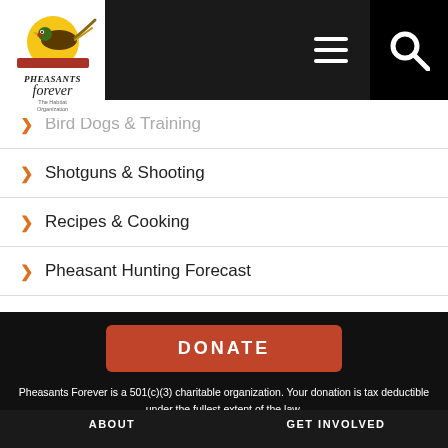[Figure (logo): Pheasants Forever logo with pheasant bird illustration and text 'Pheasants forever - The Habitat Organization']
Navigation header bar with hamburger menu icon and search icon
Bird Dogs & Training
Shotguns & Shooting
Recipes & Cooking
Pheasant Hunting Forecast
DONATE
Pheasants Forever is a 501(c)(3) charitable organization. Your donation is tax deductible under the fullest extent of the law. See how your donation is used.
ABOUT    GET INVOLVED